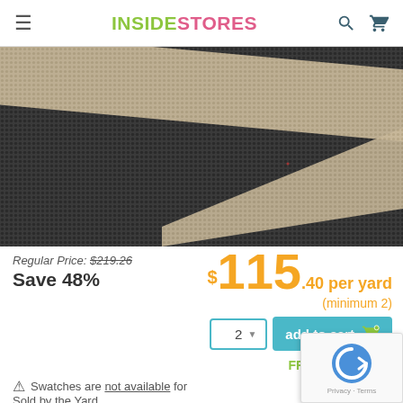INSIDESTORES
[Figure (photo): Close-up photo of a woven fabric/rug with dark charcoal/black base and diagonal beige/tan stripe pattern]
Regular Price: $219.26
Save 48%
$115.40 per yard (minimum 2)
2 ▼  add to cart
FREE SHIPPING*
⚠ Swatches are not available for
Sold by the Yard